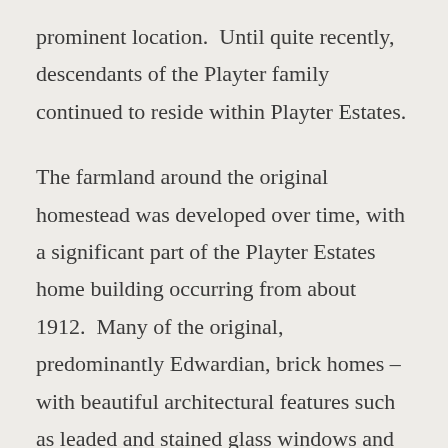prominent location.  Until quite recently, descendants of the Playter family continued to reside within Playter Estates.
The farmland around the original homestead was developed over time, with a significant part of the Playter Estates home building occurring from about 1912.  Many of the original, predominantly Edwardian, brick homes –  with beautiful architectural features such as leaded and stained glass windows and welcoming porches with timber railings – have been beautifully maintained on tree-lined